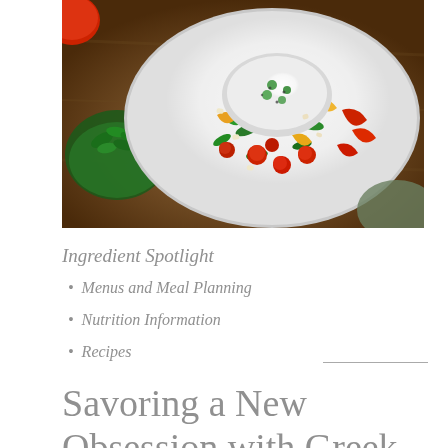[Figure (photo): Overhead view of a colorful Mediterranean salad on a white plate with burrata cheese, cherry tomatoes, yellow and red bell peppers, arugula, and herbs on a wooden surface. Fresh arugula in a bowl visible on the left side.]
Ingredient Spotlight
Menus and Meal Planning
Nutrition Information
Recipes
Savoring a New Obsession with Greek